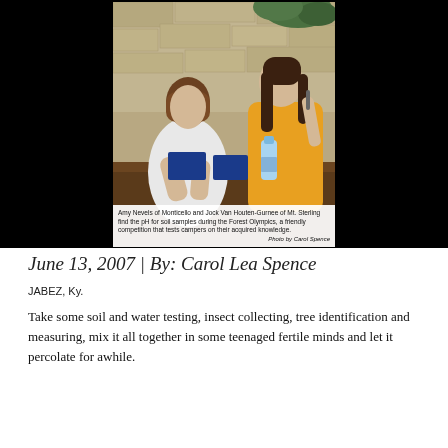[Figure (photo): Two teenagers, one in a white shirt and one in a yellow shirt, leaning over a table working with blue containers and a water bottle, testing soil pH samples outdoors against a stone wall background.]
Amy Nevels of Monticello and Jock Van Houten-Gurnee of Mt. Sterling find the pH for soil samples during the Forest Olympics, a friendly competition that tests campers on their acquired knowledge. Photo by Carol Spence
June 13, 2007 | By: Carol Lea Spence
JABEZ, Ky.
Take some soil and water testing, insect collecting, tree identification and measuring, mix it all together in some teenaged fertile minds and let it percolate for awhile.